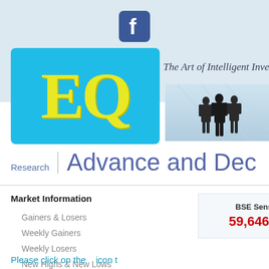[Figure (logo): Facebook 'f' logo icon in blue rounded square]
[Figure (logo): EQ logo - yellow EQ text on cyan/blue rounded rectangle background with tagline 'The Art of Intelligent Investing.']
[Figure (photo): Silhouettes of business people walking in a glass building corridor]
Research | Advance and Dec
Market Information
Gainers & Losers
Weekly Gainers
Weekly Losers
New Highs & New Lows
BSE Sensex
59,646.15
Please click on the   icon t